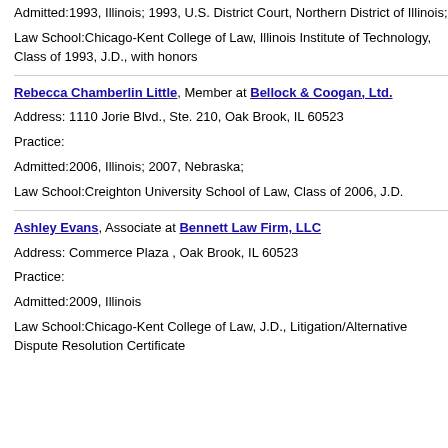Admitted:1993, Illinois; 1993, U.S. District Court, Northern District of Illinois;
Law School:Chicago-Kent College of Law, Illinois Institute of Technology, Class of 1993, J.D., with honors
Rebecca Chamberlin Little, Member at Bellock & Coogan, Ltd.
Address: 1110 Jorie Blvd., Ste. 210, Oak Brook, IL 60523
Practice:
Admitted:2006, Illinois; 2007, Nebraska;
Law School:Creighton University School of Law, Class of 2006, J.D.
Ashley Evans, Associate at Bennett Law Firm, LLC
Address: Commerce Plaza , Oak Brook, IL 60523
Practice:
Admitted:2009, Illinois
Law School:Chicago-Kent College of Law, J.D., Litigation/Alternative Dispute Resolution Certificate